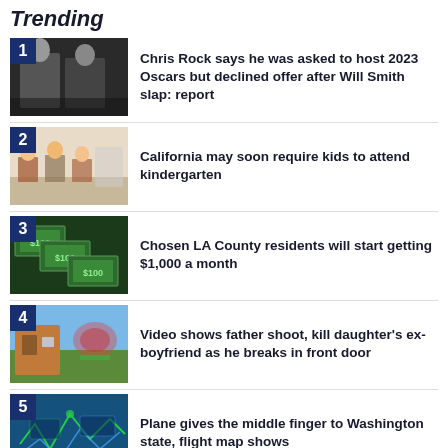Trending
Chris Rock says he was asked to host 2023 Oscars but declined offer after Will Smith slap: report
California may soon require kids to attend kindergarten
Chosen LA County residents will start getting $1,000 a month
Video shows father shoot, kill daughter's ex-boyfriend as he breaks in front door
Plane gives the middle finger to Washington state, flight map shows